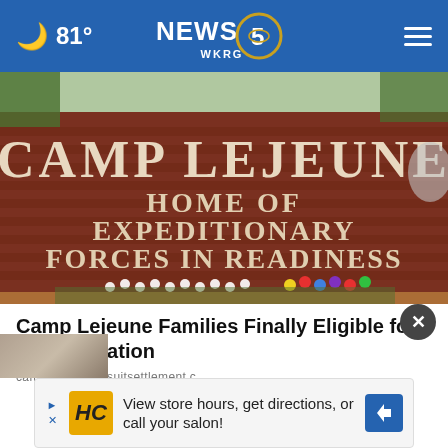🌙 81° — NEWS 5 WKRG
[Figure (photo): Camp Lejeune entrance brick sign reading CAMP LEJEUNE HOME OF EXPEDITIONARY FORCES IN READINESS with flowers placed at the base]
Camp Lejeune Families Finally Eligible for Compensation
camplejeunelawsuitsettlement.c
[Figure (screenshot): Advertisement banner: HC logo with text 'View store hours, get directions, or call your salon!']